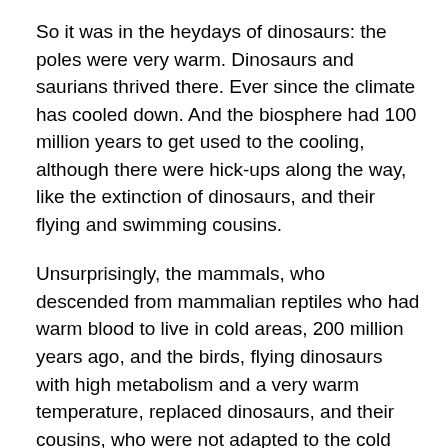So it was in the heydays of dinosaurs: the poles were very warm. Dinosaurs and saurians thrived there. Ever since the climate has cooled down. And the biosphere had 100 million years to get used to the cooling, although there were hick-ups along the way, like the extinction of dinosaurs, and their flying and swimming cousins.
Unsurprisingly, the mammals, who descended from mammalian reptiles who had warm blood to live in cold areas, 200 million years ago, and the birds, flying dinosaurs with high metabolism and a very warm temperature, replaced dinosaurs, and their cousins, who were not adapted to the cold (dinosaurs liked Alaska, Greenland and Antarctica, but only when those were covered with forests now found closer to the equator, with species such as Patagonian beech).